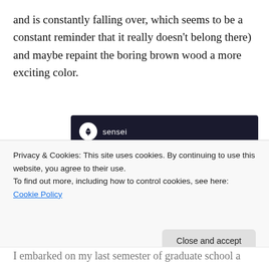and is constantly falling over, which seems to be a constant reminder that it really doesn't belong there) and maybe repaint the boring brown wood a more exciting color.
[Figure (other): Sensei advertisement: dark navy background with Sensei logo (tree icon in white circle), teal headline text 'Launch your online course with WordPress', and a teal 'Learn More' button.]
Privacy & Cookies: This site uses cookies. By continuing to use this website, you agree to their use.
To find out more, including how to control cookies, see here: Cookie Policy
I embarked on my last semester of graduate school a